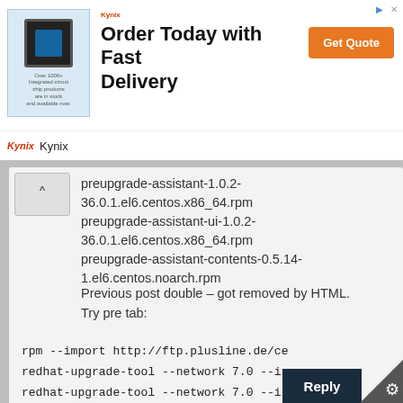[Figure (screenshot): Kynix advertisement banner: chip image, 'Order Today with Fast Delivery' headline, orange 'Get Quote' button, Kynix logo at bottom]
preupgrade-assistant-1.0.2-36.0.1.el6.centos.x86_64.rpm
preupgrade-assistant-ui-1.0.2-36.0.1.el6.centos.x86_64.rpm
preupgrade-assistant-contents-0.5.14-1.el6.centos.noarch.rpm
Previous post double – got removed by HTML. Try pre tab:
rpm --import http://ftp.plusline.de/ce
redhat-upgrade-tool --network 7.0 --ir
redhat-upgrade-tool --network 7.0 --ir